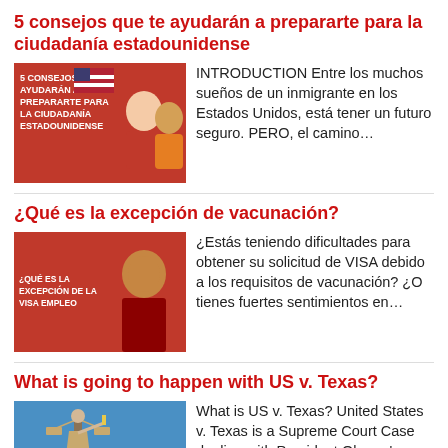5 consejos que te ayudarán a prepararte para la ciudadanía estadounidense
[Figure (illustration): Thumbnail image for article about citizenship tips, red background with text overlay and people]
INTRODUCTION Entre los muchos sueños de un inmigrante en los Estados Unidos, está tener un futuro seguro. PERO, el camino…
¿Qué es la excepción de vacunación?
[Figure (illustration): Thumbnail image for article about vaccination exception, red background with person]
¿Estás teniendo dificultades para obtener su solicitud de VISA debido a los requisitos de vacunación? ¿O tienes fuertes sentimientos en…
What is going to happen with US v. Texas?
[Figure (photo): Thumbnail image of Lady Justice statue against blue sky]
What is US v. Texas? United States v. Texas is a Supreme Court Case dealing with President Obama's executive actions…